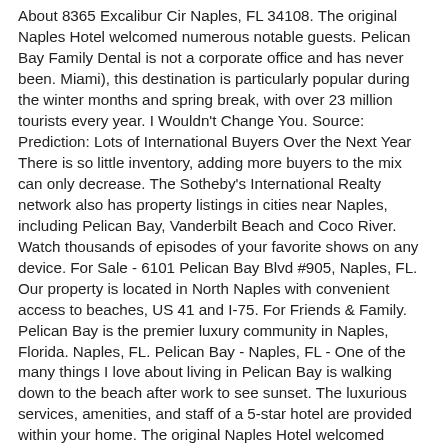About 8365 Excalibur Cir Naples, FL 34108. The original Naples Hotel welcomed numerous notable guests. Pelican Bay Family Dental is not a corporate office and has never been. Miami), this destination is particularly popular during the winter months and spring break, with over 23 million tourists every year. I Wouldn't Change You. Source: Prediction: Lots of International Buyers Over the Next Year There is so little inventory, adding more buyers to the mix can only decrease. The Sotheby's International Realty network also has property listings in cities near Naples, including Pelican Bay, Vanderbilt Beach and Coco River. Watch thousands of episodes of your favorite shows on any device. For Sale - 6101 Pelican Bay Blvd #905, Naples, FL. Our property is located in North Naples with convenient access to beaches, US 41 and I-75. For Friends & Family. Pelican Bay is the premier luxury community in Naples, Florida. Naples, FL. Pelican Bay - Naples, FL - One of the many things I love about living in Pelican Bay is walking down to the beach after work to see sunset. The luxurious services, amenities, and staff of a 5-star hotel are provided within your home. The original Naples Hotel welcomed numerous notable guests. Real estate in Pelican Bay includes single-family homes, villas and high-rise condos. The Glenview at Pelican Bay, Naples. The Marbella at Pelican Bay in Naples, Florida is so much more than luxury high-rise building. Designated as a "Clean Marina" by the Florida Department of